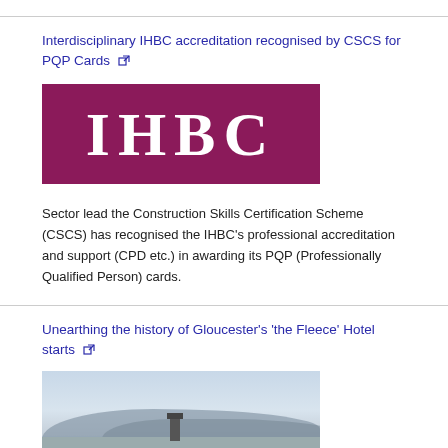Interdisciplinary IHBC accreditation recognised by CSCS for PQP Cards
[Figure (logo): IHBC logo — white bold serif letters 'IHBC' on a dark magenta/purple background]
Sector lead the Construction Skills Certification Scheme (CSCS) has recognised the IHBC's professional accreditation and support (CPD etc.) in awarding its PQP (Professionally Qualified Person) cards.
Unearthing the history of Gloucester's 'the Fleece' Hotel starts
[Figure (photo): Photograph of a city/town panorama with hills and misty sky in the background, and a church or cathedral tower visible in the foreground below]